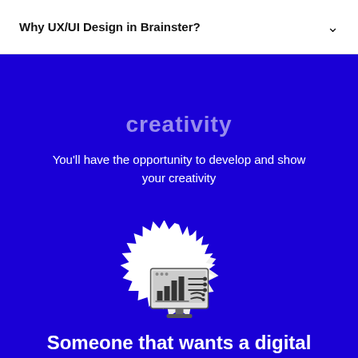Why UX/UI Design in Brainster?
creativity
You'll have the opportunity to develop and show your creativity
[Figure (illustration): A starburst/seal badge shape in white on a blue background containing an icon of a computer monitor with a bar chart and flowing lines/arrows, representing data visualization or design tools.]
Someone that wants a digital